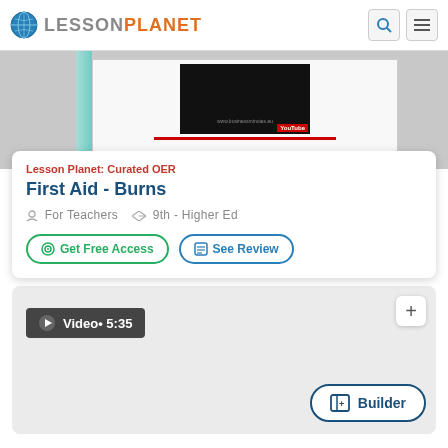Lesson Planet
[Figure (screenshot): Screenshot of a video lesson page thumbnail with dark video player and teal accent bar on left]
Lesson Planet: Curated OER
First Aid - Burns
For Teachers   9th - Higher Ed
Get Free Access   See Review
[Figure (screenshot): Second resource card showing Video • 5:35 badge and Builder button]
Video• 5:35
Builder